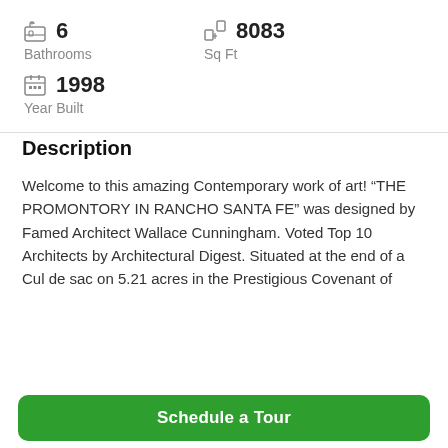6 Bathrooms
8083 Sq Ft
1998 Year Built
Description
Welcome to this amazing Contemporary work of art! “THE PROMONTORY IN RANCHO SANTA FE” was designed by Famed Architect Wallace Cunningham. Voted Top 10 Architects by Architectural Digest. Situated at the end of a Cul de sac on 5.21 acres in the Prestigious Covenant of
Schedule a Tour